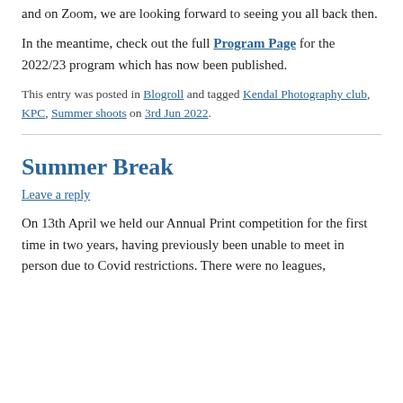and on Zoom, we are looking forward to seeing you all back then.
In the meantime, check out the full Program Page for the 2022/23 program which has now been published.
This entry was posted in Blogroll and tagged Kendal Photography club, KPC, Summer shoots on 3rd Jun 2022.
Summer Break
Leave a reply
On 13th April we held our Annual Print competition for the first time in two years, having previously been unable to meet in person due to Covid restrictions. There were no leagues,